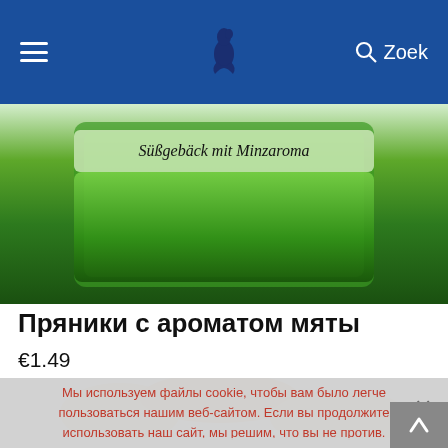≡  [logo bird]  🔍 Zoek
[Figure (photo): Green product package of mint-flavored cookies (Süßgebäck mit Minzaroma)]
Пряники с ароматом мяты
€1.49
Мы используем файлы cookie, чтобы вам было легче пользоваться нашим веб-сайтом. Если вы продолжите использовать наш сайт, мы решим, что вы не против.
Wij gebruiken cookies om ervoor te zorgen dat we u de beste ervaring op onze website bieden. Als u doorgaat met het gebruik van deze site, gaan we ervan uit dat u hiermee tevreden bent.
OK   MEER